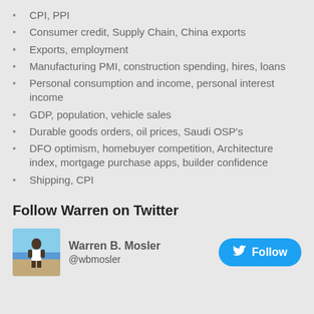CPI, PPI
Consumer credit, Supply Chain, China exports
Exports, employment
Manufacturing PMI, construction spending, hires, loans
Personal consumption and income, personal interest income
GDP, population, vehicle sales
Durable goods orders, oil prices, Saudi OSP's
DFO optimism, homebuyer competition, Architecture index, mortgage purchase apps, builder confidence
Shipping, CPI
Follow Warren on Twitter
[Figure (other): Twitter follow widget showing Warren B. Mosler @wbmosler with profile photo and Follow button]